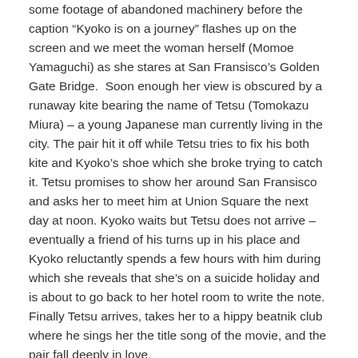some footage of abandoned machinery before the caption "Kyoko is on a journey" flashes up on the screen and we meet the woman herself (Momoe Yamaguchi) as she stares at San Fransisco's Golden Gate Bridge.  Soon enough her view is obscured by a runaway kite bearing the name of Tetsu (Tomokazu Miura) – a young Japanese man currently living in the city. The pair hit it off while Tetsu tries to fix his both kite and Kyoko's shoe which she broke trying to catch it. Tetsu promises to show her around San Fransisco and asks her to meet him at Union Square the next day at noon. Kyoko waits but Tetsu does not arrive – eventually a friend of his turns up in his place and Kyoko reluctantly spends a few hours with him during which she reveals that she's on a suicide holiday and is about to go back to her hotel room to write the note. Finally Tetsu arrives, takes her to a hippy beatnik club where he sings her the title song of the movie, and the pair fall deeply in love.
Tetsu promises to meet Kyoko back in Tokyo to start a life together, but once again he does not turn up. Heartbroken and worried, Kyoko searches for him but the name of a bar he gave her as a